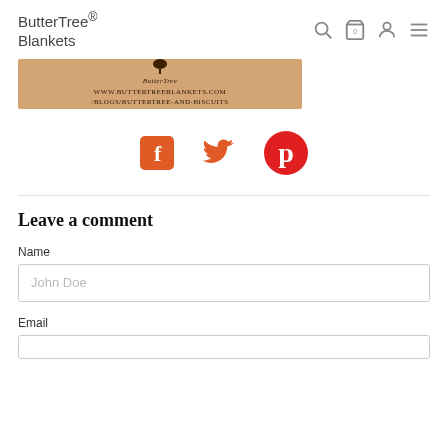ButterTree® Blankets
[Figure (logo): ButterTree blog banner with tan/gold background showing tree logo, text 'ButterTree', 'WWW.BUTTERSTREEBLANKETS.COM', '/BLOGS/BUTTERTREE-AND-BISCUITS']
[Figure (infographic): Social media icons: Facebook (orange square f), Twitter (orange bird), Pinterest (red circle P)]
Leave a comment
Name
John Doe
Email